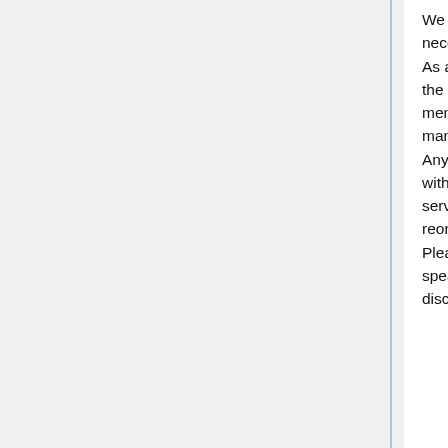We are a do-ocracy with volunteer trustees that act as company directors and if necessary step in to make decisions in the interest of the organisation.
As a do-ocracy we rely on Members to take it upon themselves to run and improve the space and our facilities. Keyholders open the space and introduce new members, Admins manage our online services and Superusers induct users and manage tools.
Any members can help though and this can be simple things like whizzing around with the vacuum, giving the kitchen a spritz, emptying the bins or technical things like servicing or repairing equipment to large projects like building a new workbench or reorganising an area.
Please get involved in the day to day, for the bigger and more complicated projects speak to other Members before you start something new. Large changes need to be discussed to avoid the impact affecting members ability to